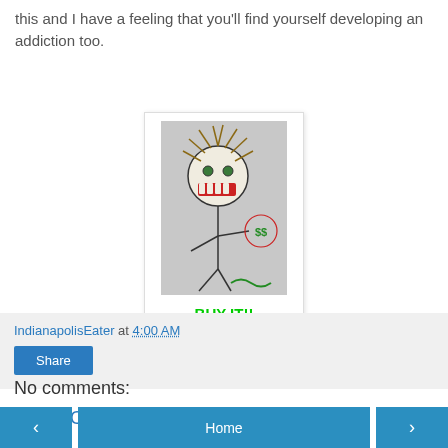this and I have a feeling that you'll find yourself developing an addiction too.
[Figure (illustration): Hand-drawn stick figure with spiky hair, open mouth showing red teeth, arms out, with a $$ money symbol circle on the right side and a green squiggle at the bottom right]
BUY IT!!
IndianapolisEater at 4:00 AM
Share
No comments:
Post a Comment
‹   Home   ›